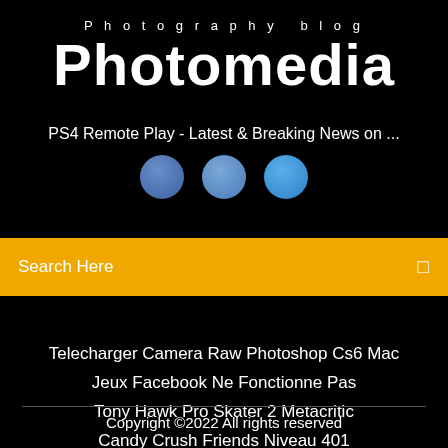Photography blog
Photomedia
PS4 Remote Play - Latest & Breaking News on ...
[Figure (illustration): Three overlapping circular social media icons with blue gradient colors, partially visible]
Search Here
Telecharger Camera Raw Photoshop Cs6 Mac
Jeux Facebook Ne Fonctionne Pas
Tony Hawk Pro Skater 2 Metacritic
Candy Crush Friends Niveau 401
Copyright ©2022 All rights reserved